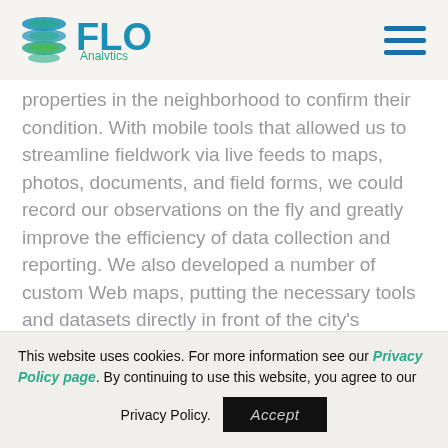FLO Analytics
properties in the neighborhood to confirm their condition. With mobile tools that allowed us to streamline fieldwork via live feeds to maps, photos, documents, and field forms, we could record our observations on the fly and greatly improve the efficiency of data collection and reporting. We also developed a number of custom Web maps, putting the necessary tools and datasets directly in front of the city's decision makers for improved sharing and
This website uses cookies. For more information see our Privacy Policy page. By continuing to use this website, you agree to our Privacy Policy. Accept